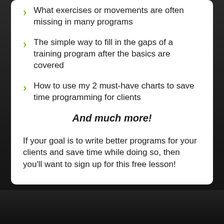What exercises or movements are often missing in many programs
The simple way to fill in the gaps of a training program after the basics are covered
How to use my 2 must-have charts to save time programming for clients
And much more!
If your goal is to write better programs for your clients and save time while doing so, then you'll want to sign up for this free lesson!